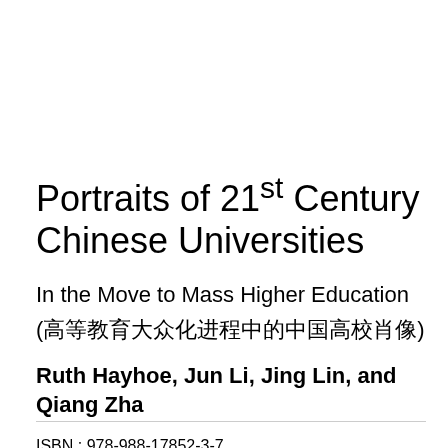Portraits of 21st Century Chinese Universities
In the Move to Mass Higher Education
(高等教育大众化进程中的中国高校肖像)
Ruth Hayhoe, Jun Li, Jing Lin, and Qiang Zha
ISBN : 978-988-17852-3-7